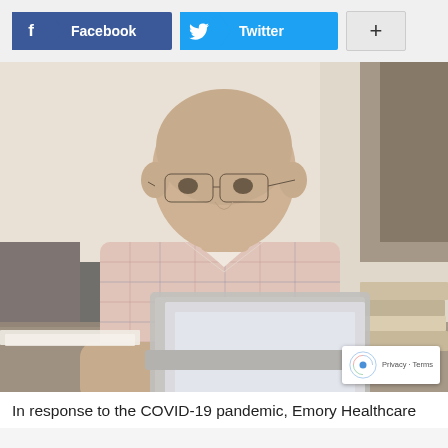[Figure (screenshot): Social sharing buttons: Facebook, Twitter, and a plus (+) button for additional sharing options]
[Figure (photo): A bald man wearing glasses and a plaid shirt sits at a desk working on a laptop computer. In the background there is a chair with a military-style backpack draped over it and a stack of books on the right side.]
In response to the COVID-19 pandemic, Emory Healthcare